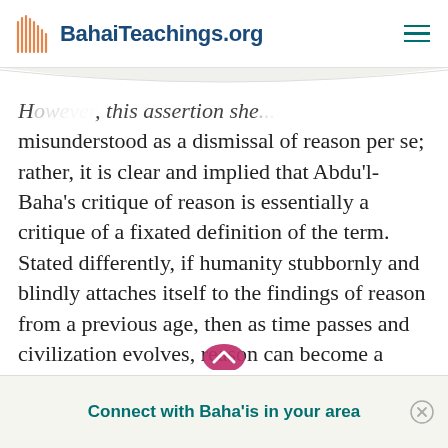BahaiTeachings.org
However, this assertion she... misunderstood as a dismissal of reason per se; rather, it is clear and implied that Abdu'l-Baha's critique of reason is essentially a critique of a fixated definition of the term. Stated differently, if humanity stubbornly and blindly attaches itself to the findings of reason from a previous age, then as time passes and civilization evolves, reason can become a barrier to the realization of truth. When viewed within the context of the Baha'i teachings, which characterize the acquisition of
Connect with Baha'is in your area